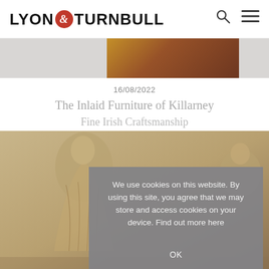[Figure (logo): Lyon & Turnbull auction house logo with stylized ampersand in red circle]
[Figure (photo): Partial view of an amber/orange decorative object against a grey background strip]
16/08/2022
The Inlaid Furniture of Killarney
Fine Irish Craftsmanship
[Figure (photo): Classical marble or carved stone statue of a draped female figure with wings, and a second partial figure visible at the right edge]
We use cookies on this website. By using this site, you agree that we may store and access cookies on your device. Find out more here
OK